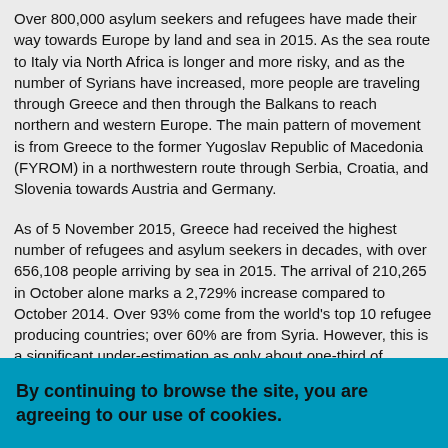Over 800,000 asylum seekers and refugees have made their way towards Europe by land and sea in 2015. As the sea route to Italy via North Africa is longer and more risky, and as the number of Syrians have increased, more people are traveling through Greece and then through the Balkans to reach northern and western Europe. The main pattern of movement is from Greece to the former Yugoslav Republic of Macedonia (FYROM) in a northwestern route through Serbia, Croatia, and Slovenia towards Austria and Germany.
As of 5 November 2015, Greece had received the highest number of refugees and asylum seekers in decades, with over 656,108 people arriving by sea in 2015. The arrival of 210,265 in October alone marks a 2,729% increase compared to October 2014. Over 93% come from the world's top 10 refugee producing countries; over 60% are from Syria. However, this is a significant under-estimation as only about one-third of refugees and asylum seekers are reportedly registering on arrival to transit countries, according to UNHCR. Very few recent arrivals are...
By continuing to browse the site, you are agreeing to our use of cookies.